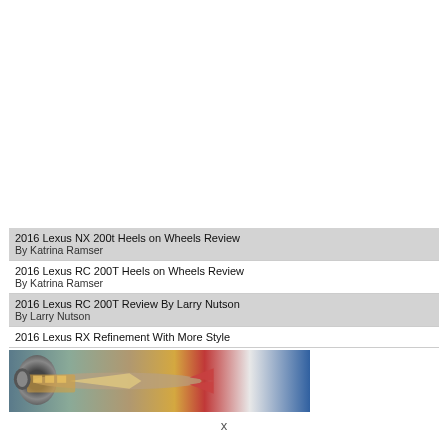[Figure (other): Blank white space at the top of the page, likely an advertisement placeholder]
2016 Lexus NX 200t Heels on Wheels Review
By Katrina Ramser
2016 Lexus RC 200T Heels on Wheels Review
By Katrina Ramser
2016 Lexus RC 200T Review By Larry Nutson
By Larry Nutson
2016 Lexus RX Refinement With More Style
[Figure (photo): Advertisement banner showing an airplane being loaded with cargo, with text 'WITHOUT REGARD TO POLITICS, RELIGION, OR ABILITY TO PAY']
x